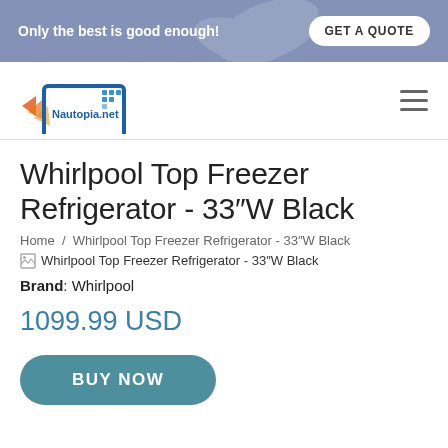Only the best is good enough! GET A QUOTE
[Figure (logo): Nautopia.net logo with blue monitor/screen icon and orange arrow shapes]
Whirlpool Top Freezer Refrigerator - 33″W Black
Home / Whirlpool Top Freezer Refrigerator - 33″W Black
[Figure (photo): Broken image placeholder for Whirlpool Top Freezer Refrigerator - 33″W Black]
Brand: Whirlpool
1099.99 USD
BUY NOW